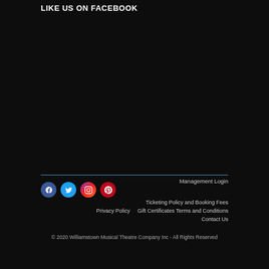LIKE US ON FACEBOOK
[Figure (infographic): Four social media icon circles: Facebook (blue), Twitter (cyan), Instagram (purple/gradient), Pinterest (red)]
Management Login
Ticketing Policy and Booking Fees
Privacy Policy    Gift Certificates Terms and Conditions
Contact Us
© 2020 Williamstown Musical Theatre Company Inc - All Rights Reserved